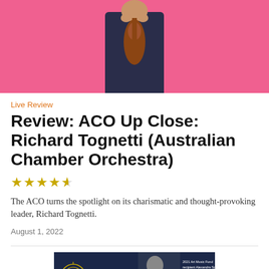[Figure (photo): A man in a dark suit holding a violin against a bright pink background, photographed from the waist up.]
Live Review
Review: ACO Up Close: Richard Tognetti (Australian Chamber Orchestra)
★★★★½
The ACO turns the spotlight on its charismatic and thought-provoking leader, Richard Tognetti.
August 1, 2022
[Figure (other): APRA AMCOS advertisement banner with dark navy background, gold circular logo, a greyscale photo of a person, and text '2021 Art Music Fund recipient Alexandra Spence Photo: Andre Chan']